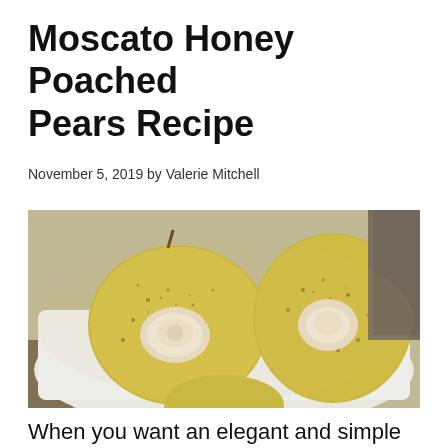Moscato Honey Poached Pears Recipe
November 5, 2019 by Valerie Mitchell
[Figure (photo): Close-up photo of poached pears on a white dish, filled with cream and dusted with spice, on a wooden surface]
When you want an elegant and simple